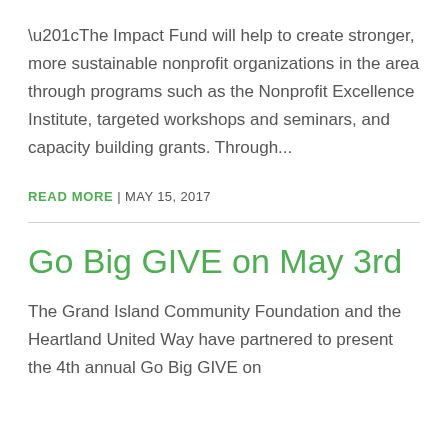“The Impact Fund will help to create stronger, more sustainable nonprofit organizations in the area through programs such as the Nonprofit Excellence Institute, targeted workshops and seminars, and capacity building grants. Through...
READ MORE | MAY 15, 2017
Go Big GIVE on May 3rd
The Grand Island Community Foundation and the Heartland United Way have partnered to present the 4th annual Go Big GIVE on